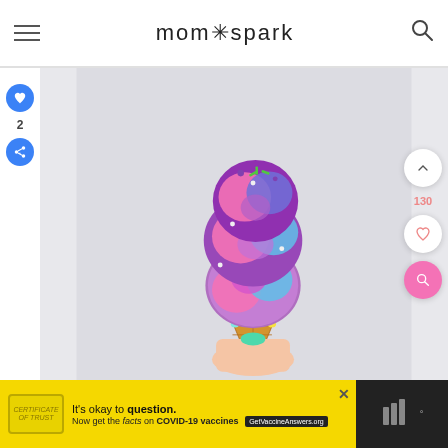mom*spark
[Figure (photo): Colorful unicorn ice cream cone with pink, blue, and purple scoops decorated with sprinkles and candy gems, held by a hand with teal nail polish, on a light gray background]
2
130
It's okay to question. Now get the facts on COVID-19 vaccines GetVaccineAnswers.org